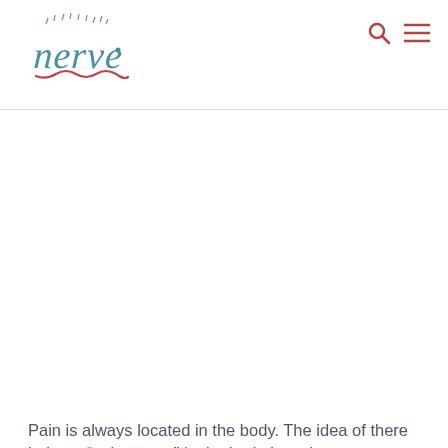nerve [logo]
[Figure (logo): Nerve publication logo with hand-drawn style lettering in teal/blue with red wavy underline and decorative marks above]
Pain is always located in the body. The idea of there being a “pain centre” in the brain is no longer scientifically credible. It so happens that the powerful tools of neuroscience are being applied to the brain. But this does not necessarily mean that the neuroscientists will